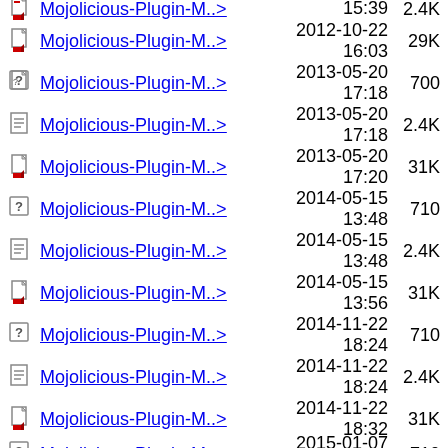Mojolicious-Plugin-M..> 15:39 2.4K
Mojolicious-Plugin-M..> 2012-10-22 16:03 29K
Mojolicious-Plugin-M..> 2013-05-20 17:18 700
Mojolicious-Plugin-M..> 2013-05-20 17:18 2.4K
Mojolicious-Plugin-M..> 2013-05-20 17:20 31K
Mojolicious-Plugin-M..> 2014-05-15 13:48 710
Mojolicious-Plugin-M..> 2014-05-15 13:48 2.4K
Mojolicious-Plugin-M..> 2014-05-15 13:56 31K
Mojolicious-Plugin-M..> 2014-11-22 18:24 710
Mojolicious-Plugin-M..> 2014-11-22 18:24 2.4K
Mojolicious-Plugin-M..> 2014-11-22 18:32 31K
Mojolicious-Plugin-M..> 2015-01-07 10:07 710